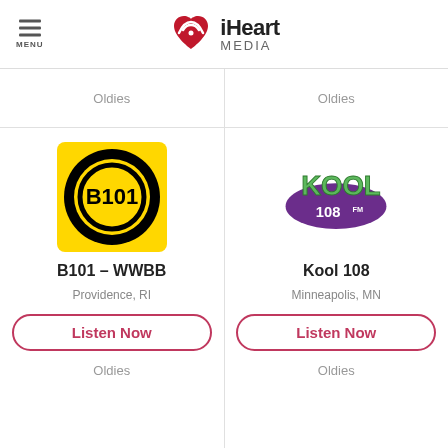[Figure (logo): iHeartMedia logo with red heart icon, hamburger menu icon labeled MENU on left]
Oldies
Oldies
[Figure (logo): B101 station logo: yellow square with black circle containing B101 text]
B101 - WWBB
Providence, RI
Listen Now
Oldies
[Figure (logo): Kool 108 FM radio station logo in green and purple]
Kool 108
Minneapolis, MN
Listen Now
Oldies